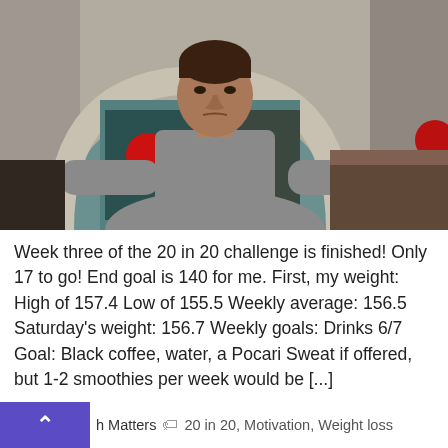[Figure (photo): A man in a grey t-shirt standing in what appears to be a diner or restaurant, with a brick arch behind him and red round ornaments/decorations visible in the background.]
Week three of the 20 in 20 challenge is finished! Only 17 to go! End goal is 140 for me. First, my weight: High of 157.4 Low of 155.5 Weekly average: 156.5 Saturday's weight: 156.7 Weekly goals: Drinks 6/7 Goal: Black coffee, water, a Pocari Sweat if offered, but 1-2 smoothies per week would be [...]
h Matters   20 in 20, Motivation, Weight loss